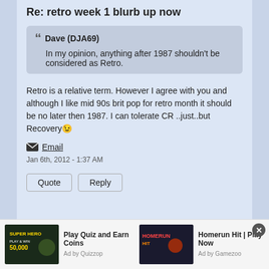Re: retro week 1 blurb up now
Dave (DJA69)
In my opinion, anything after 1987 shouldn't be considered as Retro.
Retro is a relative term. However I agree with you and although I like mid 90s brit pop for retro month it should be no later then 1987. I can tolerate CR ..just..but Recovery 😉
Email
Jan 6th, 2012 - 1:37 AM
Quote    Reply
[Figure (other): Advertisement banner: Super Hero game ad (Play Quiz and Earn Coins, Ad by Quizzop) and Homerun Hit game ad (Play Now, Ad by Gamezoo)]